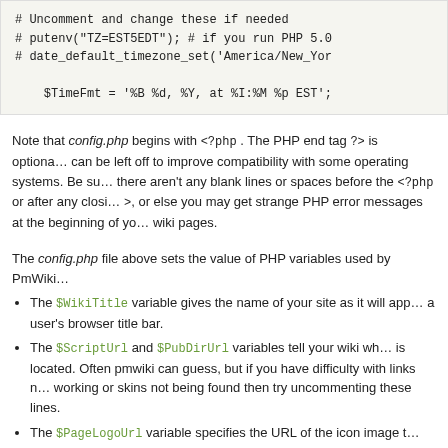[Figure (screenshot): Code block showing PHP config comments and $TimeFmt variable assignment]
Note that config.php begins with <?php . The PHP end tag ?> is optional and can be left off to improve compatibility with some operating systems. Be sure there aren't any blank lines or spaces before the <?php or after any closing ?>, or else you may get strange PHP error messages at the beginning of your wiki pages.
The config.php file above sets the value of PHP variables used by PmWiki.
The $WikiTitle variable gives the name of your site as it will appear in a user's browser title bar.
The $ScriptUrl and $PubDirUrl variables tell your wiki where it is located. Often pmwiki can guess, but if you have difficulty with links not working or skins not being found then try uncommenting these lines.
The $PageLogoUrl variable specifies the URL of the icon image that will appear in the upper-left corner of each wiki page.
The $DefaultPasswords ['admin'] sets an administrative